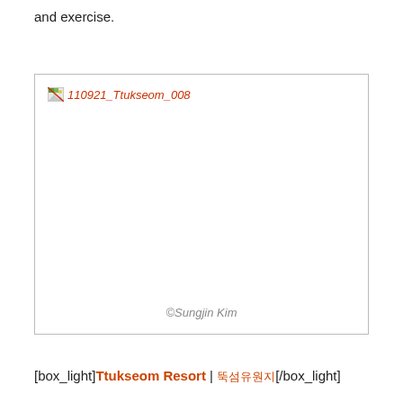and exercise.
[Figure (photo): Broken image placeholder labeled '110921_Ttukseom_008' with copyright '©Sungjin Kim']
©Sungjin Kim
[box_light]Ttukseom Resort | 뚝섬유원지[/box_light]